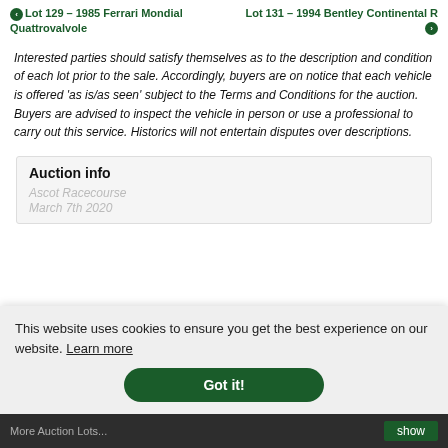Lot 129 – 1985 Ferrari Mondial Quattrovalvole | Lot 131 – 1994 Bentley Continental R
Interested parties should satisfy themselves as to the description and condition of each lot prior to the sale. Accordingly, buyers are on notice that each vehicle is offered 'as is/as seen' subject to the Terms and Conditions for the auction. Buyers are advised to inspect the vehicle in person or use a professional to carry out this service. Historics will not entertain disputes over descriptions.
Auction info
Ascot Racecourse
March 7th 2020
This website uses cookies to ensure you get the best experience on our website. Learn more
Got it!
More Auction Lots... | show